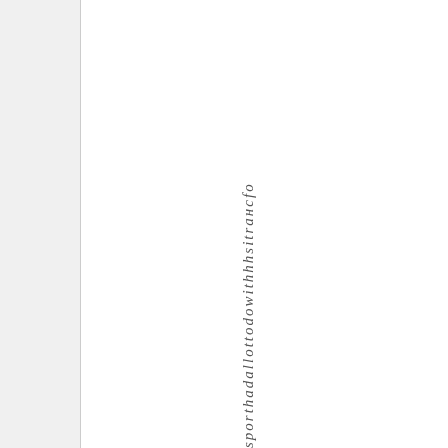sporthadallottodo with hhs itransfe